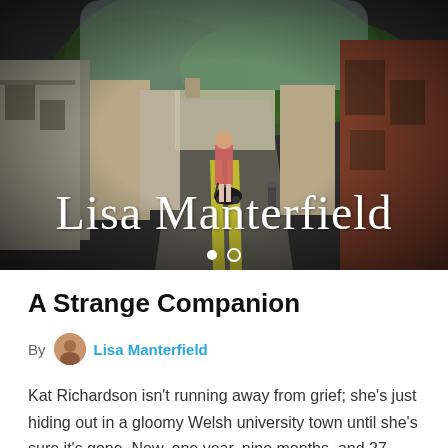[Figure (photo): Hero image of a woman with a pram/stroller walking down a narrow UK street with brick buildings on either side and green hills in the background, with the cursive text 'Lisa Manterfield' overlaid and two navigation dots below]
A Strange Companion
By Lisa Manterfield
Kat Richardson isn't running away from grief; she's just hiding out in a gloomy Welsh university town until she's sure it's gone. Now, one year, nine months, and 27 days after the climbing death of her first love, Gabe, she thinks she's